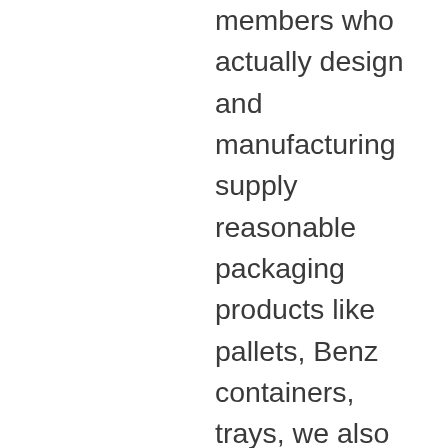members who actually design and manufacturing supply reasonable packaging products like pallets, Benz containers, trays, we also have a lot of companies that are engaged into the services side of that full system, including the recovery reverse Logistics technology providers. So automation equipment providers. And so what we look as an association now is an organization that can truly represent and speak on behalf of the full reuse cycle. It's not just a forward supply chain organization of how you pack products and move them to the point from, on the receipt of